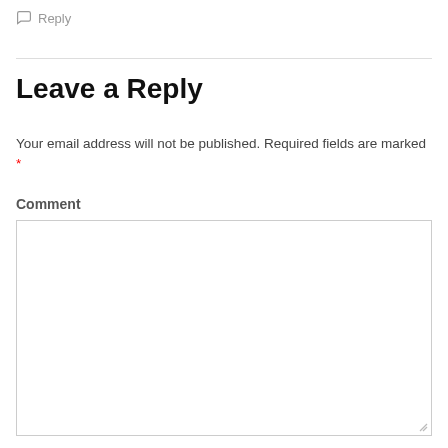Reply
Leave a Reply
Your email address will not be published. Required fields are marked *
Comment